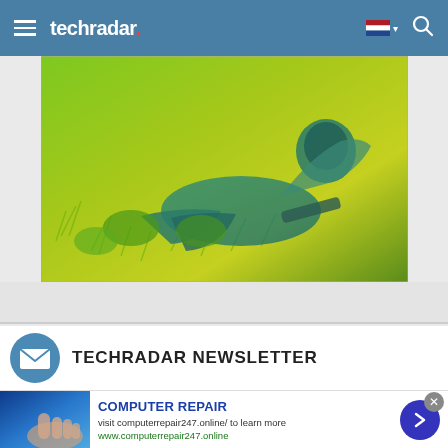techradar
[Figure (photo): Aerial or top-down stylized photo with green tones showing a figure or person lying on grass/ground with plants around them, teal and green color grading]
TECHRADAR NEWSLETTER
[Figure (infographic): Advertisement banner: Computer Repair - visit computerrepair247.online/ to learn more - www.computerrepair247.online, with blue tech image on left and purple arrow button on right]